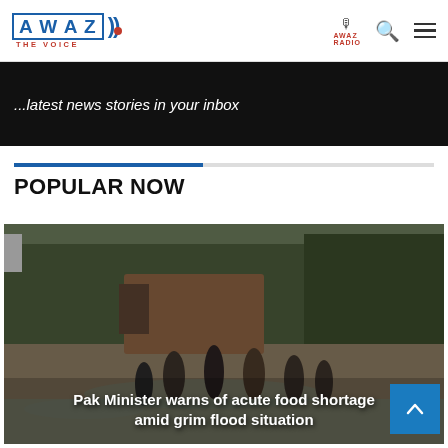AWAZ THE VOICE
...latest news stories in your inbox
POPULAR NOW
[Figure (photo): People wading through floodwaters with a truck in the background carrying people and goods, trees lining the flooded road.]
Pak Minister warns of acute food shortage amid grim flood situation